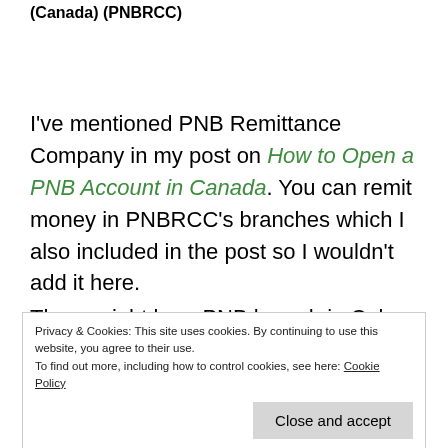(Canada) (PNBRCC)
I've mentioned PNB Remittance Company in my post on How to Open a PNB Account in Canada. You can remit money in PNBRCC's branches which I also included in the post so I wouldn't add it here.
There might be a PNB branch in Calgary soon. For those of us who can't go to the branch, we can consider the Global Filipino Card (GFC) which my friends recommended me to try. (But I haven't
Privacy & Cookies: This site uses cookies. By continuing to use this website, you agree to their use. To find out more, including how to control cookies, see here: Cookie Policy
Close and accept
remittance center, or agent tie-up abroad to apply